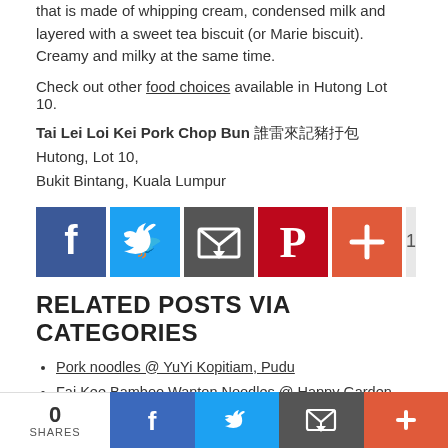that is made of whipping cream, condensed milk and layered with a sweet tea biscuit (or Marie biscuit). Creamy and milky at the same time.
Check out other food choices available in Hutong Lot 10.
Tai Lei Loi Kei Pork Chop Bun 太雷來記豬扒包
Hutong, Lot 10,
Bukit Bintang, Kuala Lumpur
[Figure (infographic): Social share buttons: Facebook (blue), Twitter (light blue), Email (dark gray), Pinterest (red), More/Plus (orange-red), count badge showing 1]
RELATED POSTS VIA CATEGORIES
Pork noodles @ YuYi Kopitiam, Pudu
Fai Kee Bamboo Wanton Noodles @ Happy Garden, KL
Nippy Noodle Restaurant @ Kuchai Lama, KL
Good Taste Rice & Noodle House 好味飯店 @ Taman Anggerik, Cheras
Medan Selera Kheng Heong 瓊香美食 @ Lorong Syed Putra Kiri, KL
Sentul Ah Yap Hokkien Mee @ Jalan Sentul, KL
Lian Bee Hokkien Mee 聯美 @ Jalan Cheng Lock, KL
Aik Yuen Restaurant @ Setapak – for glossy and fragrant Hokkien Mee
[Figure (infographic): Bottom share bar: count 0 SHARES, Facebook button, Twitter button, Email button, More/Plus button]